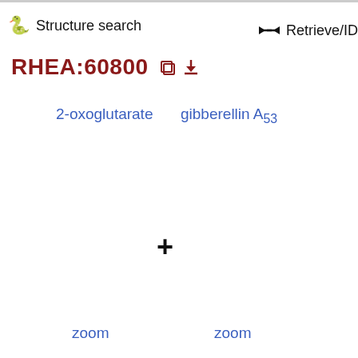Structure search | Retrieve/ID
RHEA:60800
2-oxoglutarate
gibberellin A53
+
zoom
zoom